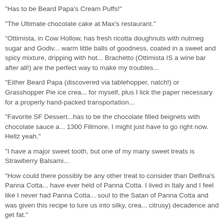“Has to be Beard Papa’s Cream Puffs!”
“The Ultimate chocolate cake at Max’s restaurant.”
“Ottimista, in Cow Hollow, has fresh ricotta doughnuts with nutmeg sugar and Godiv... warm little balls of goodness, coated in a sweet and spicy mixture, dripping with hot... Brachetto (Ottimista IS a wine bar after all!) are the perfect way to make my troubles...”
“Either Beard Papa (discovered via tablehopper, natch!) or Grasshopper Pie ice crea... for myself, plus I lick the paper necessary for a properly hand-packed transportation...”
“Favorite SF Dessert...has to be the chocolate filled beignets with chocolate sauce a... 1300 Fillmore. I might just have to go right now. Hellz yeah.”
“I have a major sweet tooth, but one of my many sweet treats is Strawberry Balsami...”
“How could there possibly be any other treat to consider than Delfina’s Panna Cotta... have ever held of Panna Cotta. I lived in Italy and I feel like I never had Panna Cotta... soul to the Satan of Panna Cotta and was given this recipe to lure us into silky, crea... citrusy) decadence and get fat.”
“Nutella Crepes at Frjtz (on Hayes)!”
“Yes it’s true I love Ghirardelli hot fudge sundaes with vanilla at Ghirardelli Square. N... in the city and she goes to the Ferry Building for gelato weekly.”